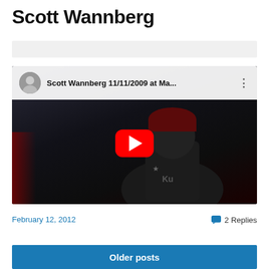Scott Wannberg
[Figure (screenshot): YouTube video embed showing Scott Wannberg 11/11/2009 at Ma... with a dark background and a person wearing a red beanie hat, with the YouTube play button overlay in red]
February 12, 2012
2 Replies
Older posts